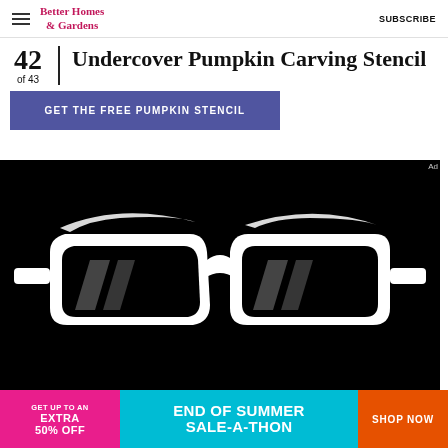Better Homes & Gardens | SUBSCRIBE
42 of 43 Undercover Pumpkin Carving Stencil
GET THE FREE PUMPKIN STENCIL
[Figure (illustration): Black and white pumpkin carving stencil depicting sunglasses (spy/undercover theme) — white outline of thick-framed glasses with dark lenses on a black background]
[Figure (infographic): Advertisement banner: GET UP TO AN EXTRA 50% OFF — END OF SUMMER SALE-A-THON — SHOP NOW]